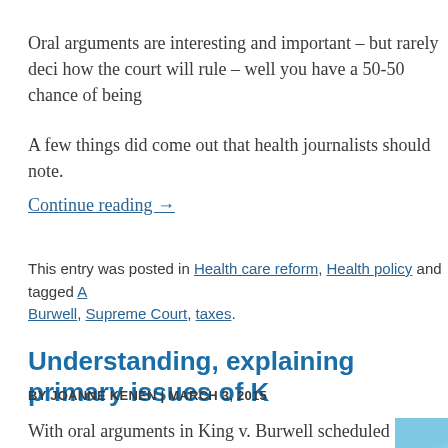Oral arguments are interesting and important – but rarely deci how the court will rule – well you have a 50-50 chance of being
A few things did come out that health journalists should note.
Continue reading →
This entry was posted in Health care reform, Health policy and tagged A Burwell, Supreme Court, taxes.
Understanding, explaining primary issues of K
BY JOANNE KENEN | MARCH 3, 2015
With oral arguments in King v. Burwell scheduled for tomorrow, the
[Figure (photo): Photo with blue sky background, partial image cut off at right edge]